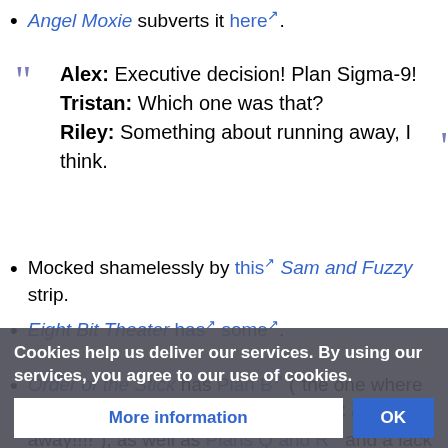Angel Moxie subverts it here [ext link].
Alex: Executive decision! Plan Sigma-9! Tristan: Which one was that? Riley: Something about running away, I think.
Mocked shamelessly by this [ext] Sam and Fuzzy strip.
Eight Bit Theater has [ext] some [ext].
Order of the Stick has Plan B [ext] ("the one where we set something on fire") and Plan C ("run away!!!!"), as well as Plans Q and R [ext] and a lack of Plan S.
Sean and Wormwood parodies the trope. Maneuver 14-B is "Don't let the giant worm knock me off the ledge." It also ... brittle chips
Cookies help us deliver our services. By using our services, you agree to our use of cookies.